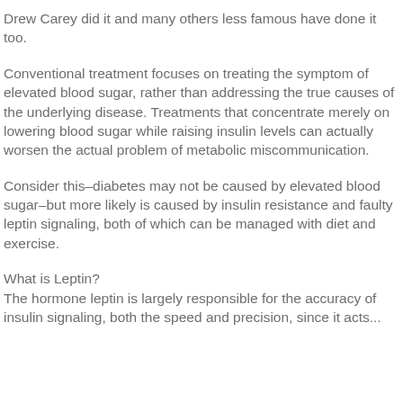Drew Carey did it and many others less famous have done it too.
Conventional treatment focuses on treating the symptom of elevated blood sugar, rather than addressing the true causes of the underlying disease. Treatments that concentrate merely on lowering blood sugar while raising insulin levels can actually worsen the actual problem of metabolic miscommunication.
Consider this–diabetes may not be caused by elevated blood sugar–but more likely is caused by insulin resistance and faulty leptin signaling, both of which can be managed with diet and exercise.
What is Leptin?
The hormone leptin is largely responsible for the accuracy of insulin signaling, both the speed and precision, since it acts...